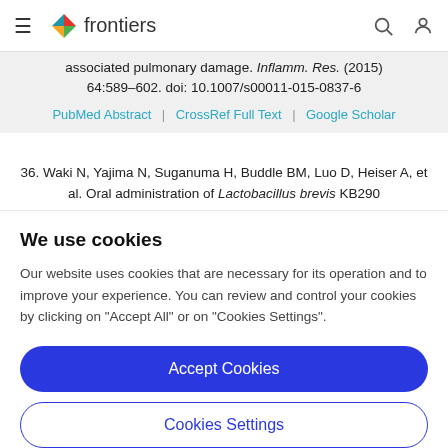frontiers
associated pulmonary damage. Inflamm. Res. (2015) 64:589–602. doi: 10.1007/s00011-015-0837-6
PubMed Abstract | CrossRef Full Text | Google Scholar
36. Waki N, Yajima N, Suganuma H, Buddle BM, Luo D, Heiser A, et al. Oral administration of Lactobacillus brevis KB290
We use cookies
Our website uses cookies that are necessary for its operation and to improve your experience. You can review and control your cookies by clicking on "Accept All" or on "Cookies Settings".
Accept Cookies
Cookies Settings